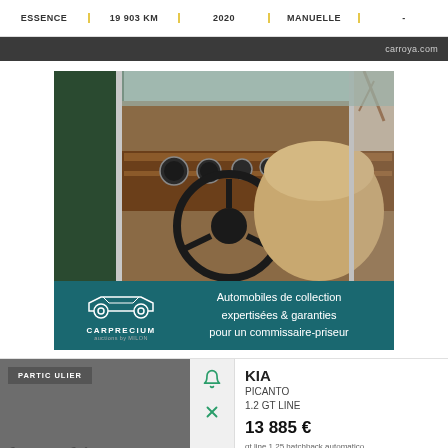ESSENCE | 19 903 KM | 2020 | MANUELLE | -
carroya.com
[Figure (photo): Vintage car interior photo showing steering wheel, wood dashboard, and tan leather seats. Advertisement banner for Carprecium - Automobiles de collection expertisées & garanties pour un commissaire-priseur.]
PARTICULIER
le parking
KIA
PICANTO
1.2 GT LINE
13 885 €
gt line 1.25 hatchback automatico